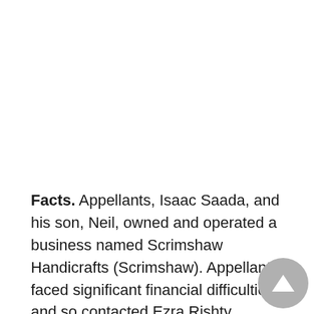Facts. Appellants, Isaac Saada, and his son, Neil, owned and operated a business named Scrimshaw Handicrafts (Scrimshaw). Appellants faced significant financial difficulties and so contacted Ezra Rishty, Isaac's cousin, for help in an insurance fraud scheme. Rishty was a public insurance adjuster who conspired with various